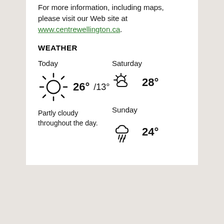For more information, including maps, please visit our Web site at www.centrewellington.ca.
WEATHER
[Figure (infographic): Weather forecast showing Today: partly cloudy sun icon, 26°/13°, 'Partly cloudy throughout the day.'; Saturday: partly cloudy icon, 28°; Sunday: rain cloud icon, 24°]